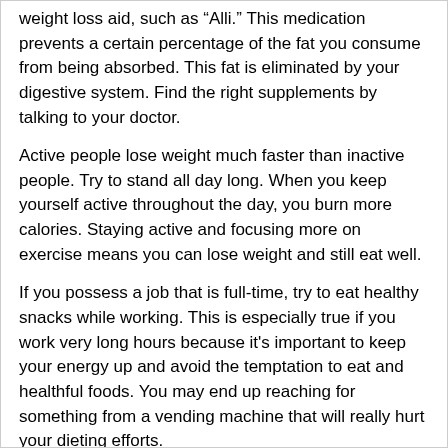weight loss aid, such as “Alli.” This medication prevents a certain percentage of the fat you consume from being absorbed. This fat is eliminated by your digestive system. Find the right supplements by talking to your doctor.
Active people lose weight much faster than inactive people. Try to stand all day long. When you keep yourself active throughout the day, you burn more calories. Staying active and focusing more on exercise means you can lose weight and still eat well.
If you possess a job that is full-time, try to eat healthy snacks while working. This is especially true if you work very long hours because it’s important to keep your energy up and avoid the temptation to eat and healthful foods. You may end up reaching for something from a vending machine that will really hurt your dieting efforts.
You can reduce your belly as you sit at your desk. The muscle you will be working on is called the transversus abdominis. Suck your stomach in as much as possible, hold it and breathe out a couple of times. This is an exercise you can easily do anywhere to get rid of your tummy fat.